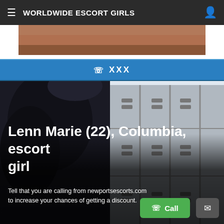WORLDWIDE ESCORT GIRLS
[Figure (photo): Partial photo strip showing a person's body, cropped]
☎ XXX
[Figure (photo): Woman with long dark hair in black outfit facing away toward school lockers]
Lenn Marie (22), Columbia, escort girl
Tell that you are calling from newportsescorts.com to increase your chances of getting a discount.